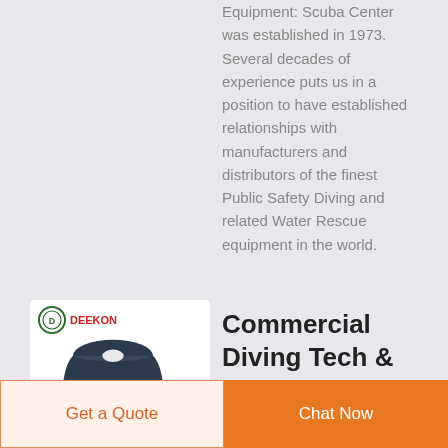Equipment: Scuba Center was established in 1973. Several decades of experience puts us in a position to have established relationships with manufacturers and distributors of the finest Public Safety Diving and related Water Rescue equipment in the world.
[Figure (photo): A white product card showing a navy polo shirt with the DEEKON brand logo and circular emblem at top left.]
Commercial Diving Tech &
Get a Quote
Chat Now